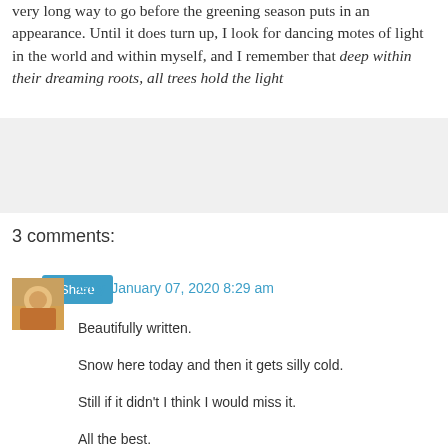very long way to go before the greening season puts in an appearance. Until it does turn up, I look for dancing motes of light in the world and within myself, and I remember that deep within their dreaming roots, all trees hold the light
[Figure (other): Share button widget on light grey background]
3 comments:
Guy January 07, 2020 8:29 am
Beautifully written.

Snow here today and then it gets silly cold.

Still if it didn't I think I would miss it.

All the best.